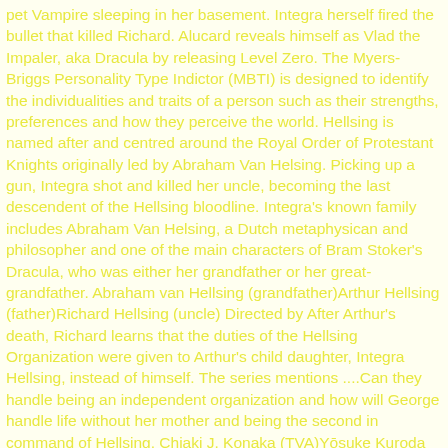pet Vampire sleeping in her basement. Integra herself fired the bullet that killed Richard. Alucard reveals himself as Vlad the Impaler, aka Dracula by releasing Level Zero. The Myers-Briggs Personality Type Indictor (MBTI) is designed to identify the individualities and traits of a person such as their strengths, preferences and how they perceive the world. Hellsing is named after and centred around the Royal Order of Protestant Knights originally led by Abraham Van Helsing. Picking up a gun, Integra shot and killed her uncle, becoming the last descendent of the Hellsing bloodline. Integra's known family includes Abraham Van Helsing, a Dutch metaphysican and philosopher and one of the main characters of Bram Stoker's Dracula, who was either her grandfather or her great-grandfather. Abraham van Hellsing (grandfather)Arthur Hellsing (father)Richard Hellsing (uncle) Directed by After Arthur's death, Richard learns that the duties of the Hellsing Organization were given to Arthur's child daughter, Integra Hellsing, instead of himself. The series mentions ....Can they handle being an independent organization and how will George handle life without her mother and being the second in command of Hellsing. Chiaki J. Konaka (TVA)Yōsuke Kuroda (OVA) Born into the prestigious and mysterious Hellsing family, Integra has been sheltered and educated all her life to take the place of her father, Sir Arthur Hellsing, as Bureau Director of the Hellsing Organization. Richard's exact motivations are unknown, though it is possible that he coveted the power and prestige of a seat in the Convention of Twelve